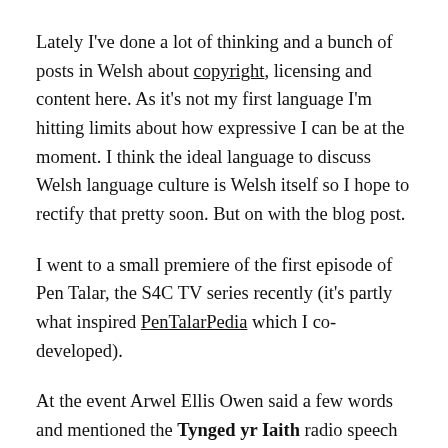Lately I've done a lot of thinking and a bunch of posts in Welsh about copyright, licensing and content here. As it's not my first language I'm hitting limits about how expressive I can be at the moment. I think the ideal language to discuss Welsh language culture is Welsh itself so I hope to rectify that pretty soon. But on with the blog post.
I went to a small premiere of the first episode of Pen Talar, the S4C TV series recently (it's partly what inspired PenTalarPedia which I co-developed).
At the event Arwel Ellis Owen said a few words and mentioned the Tynged yr Iaith radio speech by Saunders Lewis which features in Pen Talar. For what was to become a pivotal moment in Wales' history it's now astonishing that only one person had the foresight to record the audio of Lewis' speech. His name was Dafydd